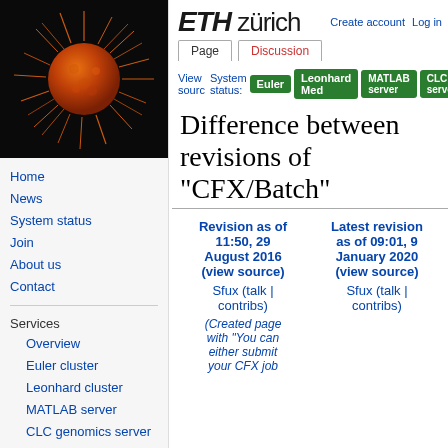[Figure (photo): Colorized scanning electron microscope image of a cancer cell (orange/red spiky sphere) on a black background]
Home
News
System status
Join
About us
Contact
Services
Overview
Euler cluster
Leonhard cluster
MATLAB server
CLC genomics server
User documentation
ETH zürich   Create account   Log in
Page   Discussion   System status:   Euler   Leonhard Med   MATLAB server   CLC server
Difference between revisions of "CFX/Batch"
| Revision as of 11:50, 29 August 2016 (view source) | Latest revision as of 09:01, 9 January 2020 (view source) |
| --- | --- |
| Sfux (talk | contribs) | Sfux (talk | contribs) |
| (Created page with "You can either submit your CFX job... |  |